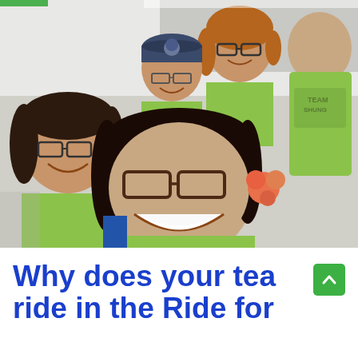[Figure (photo): Group selfie photo of approximately 6-7 smiling people wearing lime green t-shirts with 'TEAM' text, taken at an outdoor event. A woman in front center has dark hair and glasses, a younger woman on the left gives a peace sign, others smile behind them. One person wears a navy blue cap with a buffalo logo. A red/orange flower is visible near center. Some t-shirts read 'TEAM SHUNG' or similar.]
Why does your team ride in the Ride for